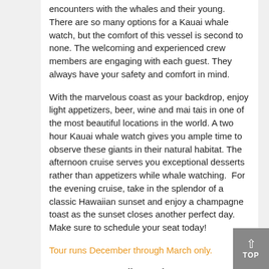encounters with the whales and their young. There are so many options for a Kauai whale watch, but the comfort of this vessel is second to none. The welcoming and experienced crew members are engaging with each guest. They always have your safety and comfort in mind.
With the marvelous coast as your backdrop, enjoy light appetizers, beer, wine and mai tais in one of the most beautiful locations in the world. A two hour Kauai whale watch gives you ample time to observe these giants in their natural habitat. The afternoon cruise serves you exceptional desserts rather than appetizers while whale watching.  For the evening cruise, take in the splendor of a classic Hawaiian sunset and enjoy a champagne toast as the sunset closes another perfect day. Make sure to schedule your seat today!
Tour runs December through March only.
LOCATION: Port Allen Marina Center, 4353 Waialo Road, Suite 2B, Eleele, HI 96705
Check In (approximate): Dec – Jan = 3:15 pm, Feb – Mar = 3:45 pm
2 hour tour
These ocean tours are not suitable for pregnant